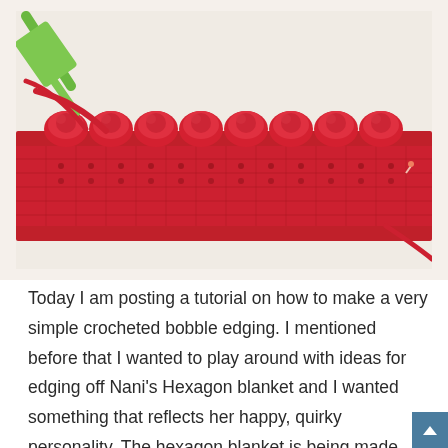[Figure (photo): Close-up photo of red crocheted bobble edging on a piece of fabric. A green crochet hook is visible at the top left holding red yarn. The bobbles form a row of round puffs along the top edge of the red crocheted band. A stitch marker pin is visible on the right side. The background is a light cream/beige color.]
Today I am posting a tutorial on how to make a very simple crocheted bobble edging. I mentioned before that I wanted to play around with ideas for edging off Nani's Hexagon blanket and I wanted something that reflects her happy, quirky personality. The hexagon blanket is being made (and